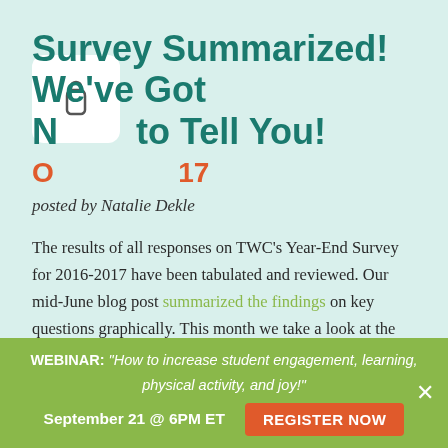Survey Summarized! We've Got News to Tell You!
October 2017
posted by Natalie Dekle
The results of all responses on TWC's Year-End Survey for 2016-2017 have been tabulated and reviewed. Our mid-June blog post summarized the findings on key questions graphically. This month we take a look at the demographic data and the open-ended responses. There's always something to discover!
Who did we survey?
We surveyed over 1,300 educators using our programs, both in classroom and school settings. The survey covered...
WEBINAR: "How to increase student engagement, learning, physical activity, and joy!" September 21 @ 6PM ET  REGISTER NOW